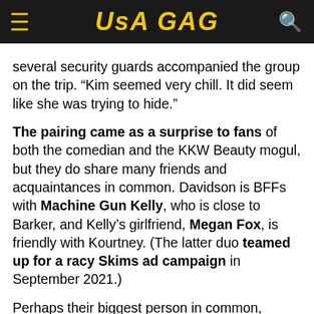USA GAG
several security guards accompanied the group on the trip. “Kim seemed very chill. It did seem like she was trying to hide.”
The pairing came as a surprise to fans of both the comedian and the KKW Beauty mogul, but they do share many friends and acquaintances in common. Davidson is BFFs with Machine Gun Kelly, who is close to Barker, and Kelly’s girlfriend, Megan Fox, is friendly with Kourtney. (The latter duo teamed up for a racy Skims ad campaign in September 2021.)
Perhaps their biggest person in common, however, is Kim’s estranged husband, Kanye West, who often collaborates with Davidson’s pal Kid Cudi. Back in 2019, the comedian went to a birthday dinner for the